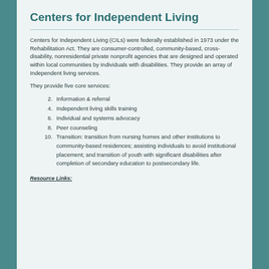Centers for Independent Living
Centers for Independent Living (CILs) were federally established in 1973 under the Rehabilitation Act. They are consumer-controlled, community-based, cross-disability, nonresidential private nonprofit agencies that are designed and operated within local communities by individuals with disabilities. They provide an array of Independent living services.
They provide five core services:
1. Information & referral
2. Independent living skills training
3. Individual and systems advocacy
4. Peer counseling
5. Transition: transition from nursing homes and other institutions to community-based residences; assisting individuals to avoid institutional placement; and transition of youth with significant disabilities after completion of secondary education to postsecondary life.
Resource Links: